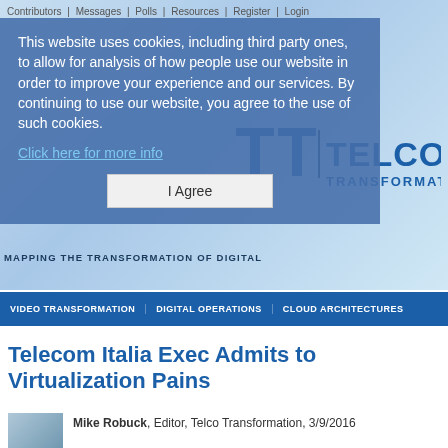Contributors | Messages | Polls | Resources | Register | Login
[Figure (screenshot): Telco Transformation website header with logo and world map background]
This website uses cookies, including third party ones, to allow for analysis of how people people use our website in order to improve your experience and our services. By continuing to use our website, you agree to the use of such cookies.
Click here for more info
I Agree
MAPPING THE TRANSFORMATION OF DIGITAL
VIDEO TRANSFORMATION | DIGITAL OPERATIONS | CLOUD ARCHITECTURES
Telecom Italia Exec Admits to Virtualization Pains
Mike Robuck, Editor, Telco Transformation, 3/9/2016